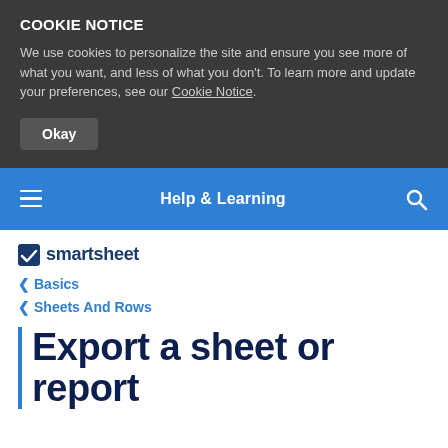COOKIE NOTICE
We use cookies to personalize the site and ensure you see more of what you want, and less of what you don't. To learn more and update your preferences, see our Cookie Notice.
Okay
Help & Learning
[Figure (logo): Smartsheet logo with checkmark icon]
< Basics
< Sheets And Rows
Export a sheet or report